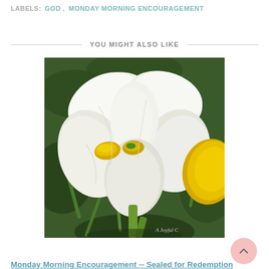LABELS: GOD, MONDAY MORNING ENCOURAGEMENT
YOU MIGHT ALSO LIKE
[Figure (photo): Close-up photograph of white iris flowers with yellow centers against a green leafy background. Watermark reads 'A Joyful C' in bottom right corner.]
Monday Morning Encouragement -- Sealed for Redemption